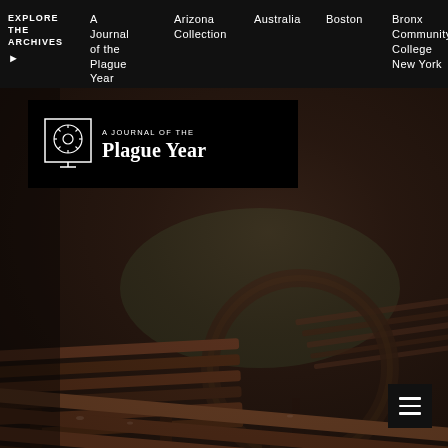EXPLORE THE ARCHIVES ▶  A Journal of the Plague Year  Arizona Collection  Australia  Boston  Bronx Community College New York
[Figure (logo): A Journal of the Plague Year logo: circular icon with gear/clock motif on left, text 'A JOURNAL OF THE' in small caps and 'Plague Year' in large serif font, all white on black background]
[Figure (photo): Outdoor park benches photographed in moody low-light conditions, dark wooden slats with a circular bench visible in the background, muted brown and green tones]
[Figure (other): Hamburger menu icon (three horizontal white lines) in a dark square, bottom right corner]